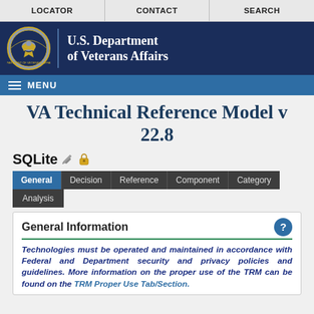LOCATOR | CONTACT | SEARCH
[Figure (logo): U.S. Department of Veterans Affairs logo with seal and text]
MENU
VA Technical Reference Model v 22.8
SQLite (edit icon) (lock icon)
General | Decision | Reference | Component | Category | Analysis (tabs)
General Information
Technologies must be operated and maintained in accordance with Federal and Department security and privacy policies and guidelines. More information on the proper use of the TRM can be found on the TRM Proper Use Tab/Section.